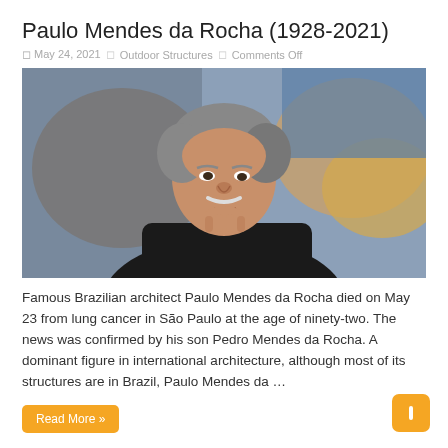Paulo Mendes da Rocha (1928-2021)
May 24, 2021  Outdoor Structures  Comments Off
[Figure (photo): Portrait photograph of Paulo Mendes da Rocha, an elderly man with gray hair and mustache, wearing a dark suit, resting his chin on his hand, with a blurred colorful background.]
Famous Brazilian architect Paulo Mendes da Rocha died on May 23 from lung cancer in São Paulo at the age of ninety-two. The news was confirmed by his son Pedro Mendes da Rocha. A dominant figure in international architecture, although most of its structures are in Brazil, Paulo Mendes da …